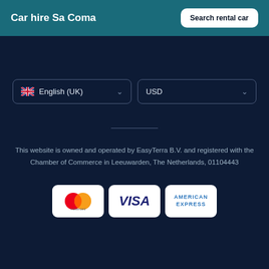Car hire Sa Coma
Search rental car
English (UK)
USD
This website is owned and operated by EasyTerra B.V. and registered with the Chamber of Commerce in Leeuwarden, The Netherlands, 01104443
[Figure (logo): Mastercard logo]
[Figure (logo): Visa logo]
[Figure (logo): American Express logo]